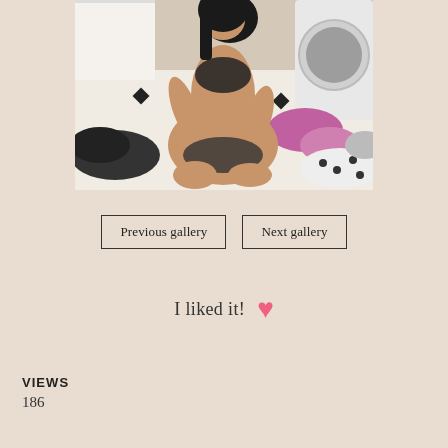[Figure (photo): Woman in black lingerie sitting on laundry room floor surrounded by clothing, with washing machine in background]
Previous gallery
Next gallery
I liked it! ♥
VIEWS
186